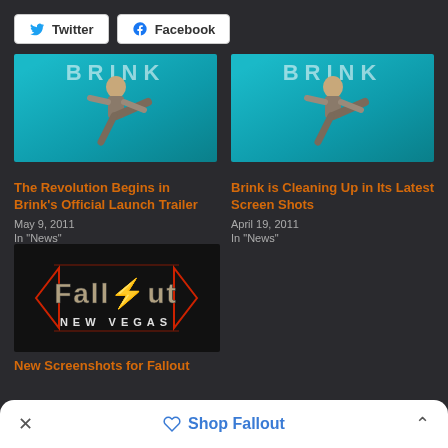[Figure (screenshot): Twitter and Facebook share buttons]
[Figure (photo): Brink game promotional image showing a shirtless fighter in mid-kick against a teal BRINK branded background]
The Revolution Begins in Brink's Official Launch Trailer
May 9, 2011
In "News"
[Figure (photo): Second Brink game promotional image, same shirtless fighter in mid-kick against BRINK background]
Brink is Cleaning Up in Its Latest Screen Shots
April 19, 2011
In "News"
[Figure (photo): Fallout New Vegas logo on dark background]
New Screenshots for Fallout
Shop Fallout